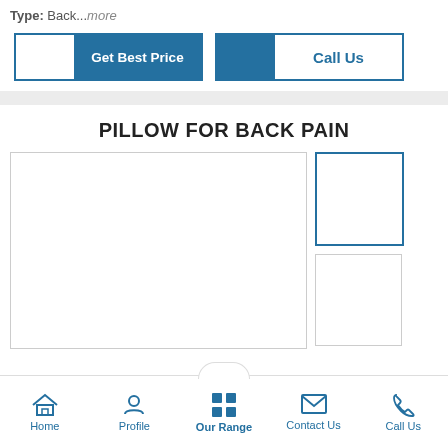Type: Back...more
[Figure (screenshot): Two buttons: 'Get Best Price' (half white, half blue) and 'Call Us' (half blue, half white with blue text)]
PILLOW FOR BACK PAIN
[Figure (photo): Product image area with large main placeholder box and two smaller thumbnail boxes on the right]
Home  Profile  Our Range  Contact Us  Call Us